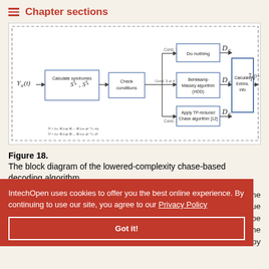Chapter sections
[Figure (flowchart): Block diagram of the lowered-complexity chase-based decoding algorithm, showing: input Y_a(t), Calculate syndromes S^1_a, S^3_a, Check conditions, then three branches: Cond.1 → Do nothing → D_a, Cond.3 or 4 → Berlekamp Massey algorithm (HDD) → D_a, Cond.2 → Apply TP-reduced Chase algorithm [12] → D_a, all feeding into Calculate Extrins. info → output T_a(t+1). Formulas shown at bottom of diagram.]
Figure 18. The block diagram of the lowered-complexity chase-based decoding algorithm.
...ing the same output value e should be t back on the followed by
IntechOpen uses cookies to offer you the best online experience. By continuing to use our site, you agree to our Privacy Policy